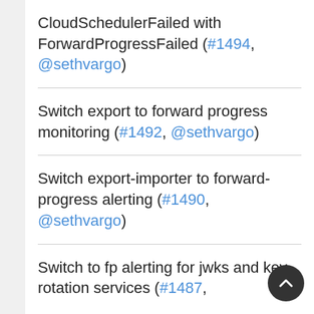CloudSchedulerFailed with ForwardProgressFailed (#1494, @sethvargo)
Switch export to forward progress monitoring (#1492, @sethvargo)
Switch export-importer to forward-progress alerting (#1490, @sethvargo)
Switch to fp alerting for jwks and key-rotation services (#1487, …)